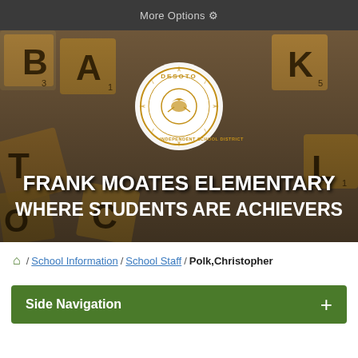More Options ⚙
[Figure (photo): Hero banner with scrabble tiles background and DeSoto Independent School District circular logo. Text overlay reads: FRANK MOATES ELEMENTARY WHERE STUDENTS ARE ACHIEVERS]
FRANK MOATES ELEMENTARY WHERE STUDENTS ARE ACHIEVERS
🏠 / School Information / School Staff / Polk,Christopher
Side Navigation +